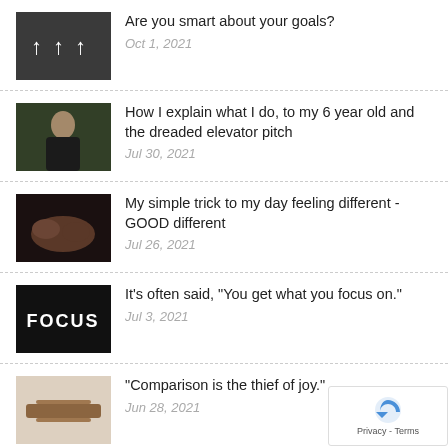Are you smart about your goals?
Oct 1, 2021
How I explain what I do, to my 6 year old and the dreaded elevator pitch
Jul 30, 2021
My simple trick to my day feeling different - GOOD different
Jul 26, 2021
It’s often said, “You get what you focus on.”
Jul 3, 2021
“Comparison is the thief of joy.”
Jun 28, 2021